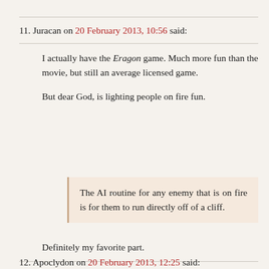11. Juracan on 20 February 2013, 10:56 said:
I actually have the Eragon game. Much more fun than the movie, but still an average licensed game.

But dear God, is lighting people on fire fun.
The AI routine for any enemy that is on fire is for them to run directly off of a cliff.
Definitely my favorite part.
12. Apoclydon on 20 February 2013, 12:25 said: